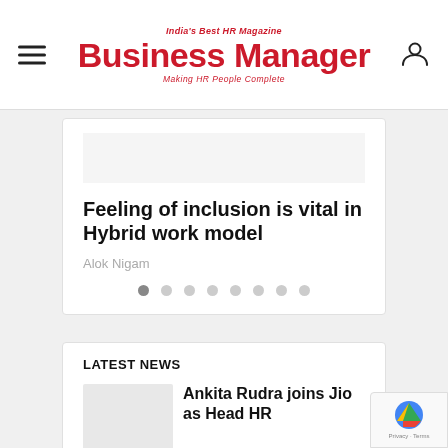India's Best HR Magazine
Business Manager
Making HR People Complete
Feeling of inclusion is vital in Hybrid work model
Alok Nigam
LATEST NEWS
Ankita Rudra joins Jio as Head HR